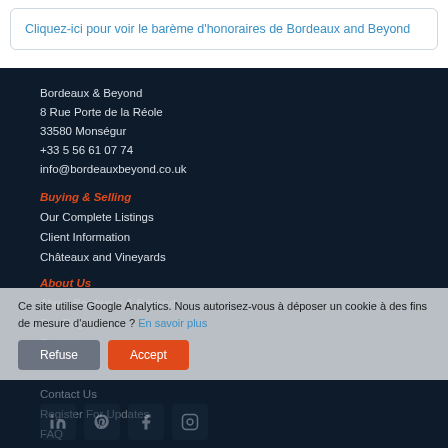Cliquez-ici pour voir le barème d'honoraires de Bordeaux and Beyond
Bordeaux & Beyond
8 Rue Porte de la Réole
33580 Monségur
+33 5 56 61 07 74
info@bordeauxbeyond.co.uk
Buying & Selling
Our Complete Listings
Client Information
Châteaux and Vineyards
About Us
About Bordeaux & Beyond
Our Regions
Rental
Aftersales
Contact Us
Register For Updates
FAQ
Ce site utilise Google Analytics. Nous autorisez-vous à déposer un cookie à des fins de mesure d'audience ? En savoir plus
Refuse
Accept